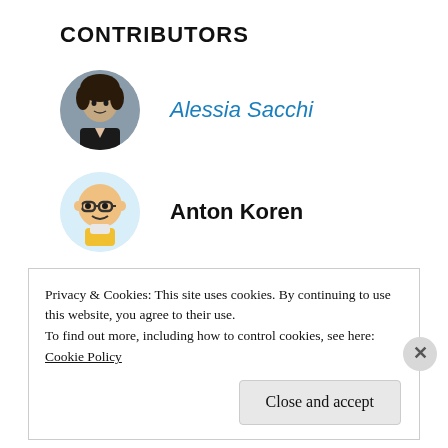CONTRIBUTORS
Alessia Sacchi
Anton Koren
Solutions ANZ
Privacy & Cookies: This site uses cookies. By continuing to use this website, you agree to their use.
To find out more, including how to control cookies, see here:
Cookie Policy
Close and accept